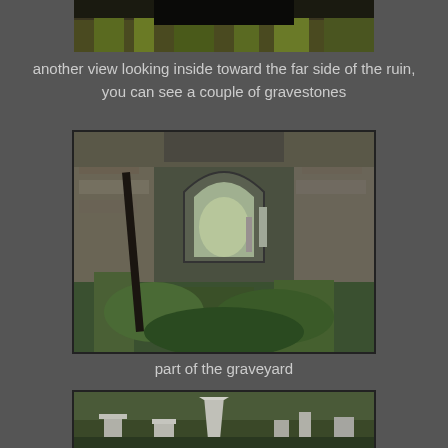[Figure (photo): Top portion of a photo showing grass and dark background, partial view of a ruin exterior]
another view looking inside toward the far side of the ruin, you can see a couple of gravestones
[Figure (photo): View looking inside stone ruins with an arched opening, moss-covered walls, wild grass and vegetation, gravestones visible through the arch]
part of the graveyard
[Figure (photo): Partial view of a graveyard with gravestones and green vegetation]